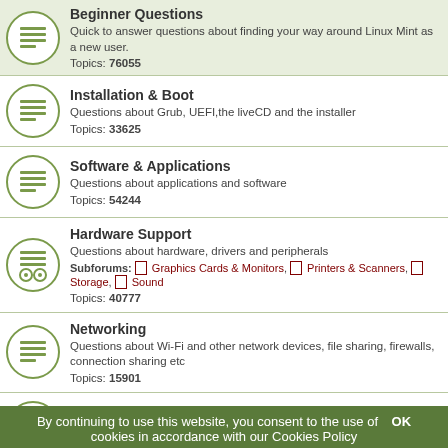Beginner Questions
Quick to answer questions about finding your way around Linux Mint as a new user.
Topics: 76055
Installation & Boot
Questions about Grub, UEFI,the liveCD and the installer
Topics: 33625
Software & Applications
Questions about applications and software
Topics: 54244
Hardware Support
Questions about hardware, drivers and peripherals
Subforums: Graphics Cards & Monitors, Printers & Scanners, Storage, Sound
Topics: 40777
Networking
Questions about Wi-Fi and other network devices, file sharing, firewalls, connection sharing etc
Topics: 15901
Virtual Machines
Questions about virtualization software
Topics: 951
Desktop & Window Managers
Questions about desktop & window managers
Topics: 14818
By continuing to use this website, you consent to the use of cookies in accordance with our Cookies Policy OK